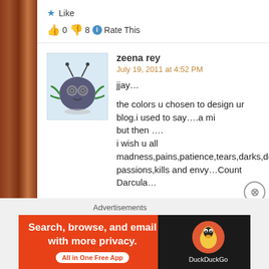★ Like
👍 0 👎 8 ℹ Rate This
zeena rey
July 19, 2011 at 4:52 PM
jjay...
the colors u chosen to design ur blog.i used to say....a min but then ....
i wish u all madness,pains,patience,tears,darks,deeps,thri passions,kills and envy...Count Darcula...
and white of solace and bliss...
★ Like
👍 7 👎 0 ℹ Rate This
Advertisements
[Figure (screenshot): DuckDuckGo advertisement banner: orange and black background with text 'Search, browse, and email with more privacy. All in One Free App' and DuckDuckGo duck logo]